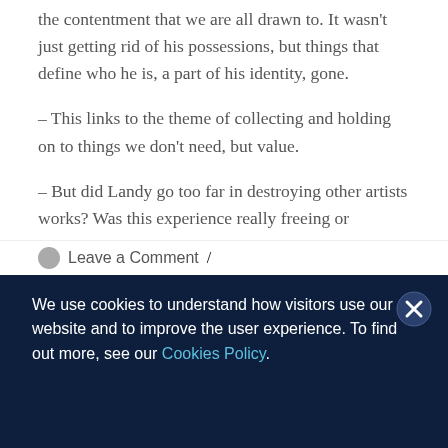wasn't just getting rid of his possessions, but things that define who he is, a part of his identity, gone.
– This links to the theme of collecting and holding on to things we don't need, but value.
– But did Landy go too far in destroying other artists works? Was this experience really freeing or restraining?
Leave a Comment /
We use cookies to understand how visitors use our website and to improve the user experience. To find out more, see our Cookies Policy.